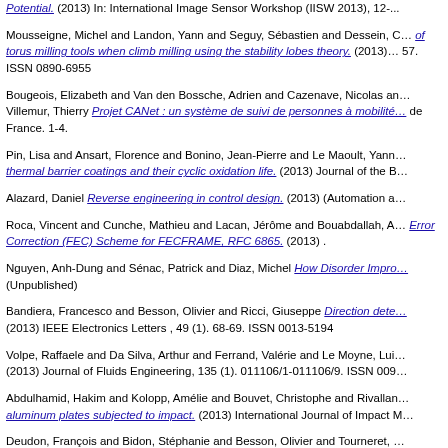Potential. (2013) In: International Image Sensor Workshop (IISW 2013), 12-...
Mousseigne, Michel and Landon, Yann and Seguy, Sébastien and Dessein, ... of torus milling tools when climb milling using the stability lobes theory. (2013) ... 57. ISSN 0890-6955
Bougeois, Elizabeth and Van den Bossche, Adrien and Cazenave, Nicolas and Villemur, Thierry Projet CANet : un système de suivi de personnes à mobilité ... de France. 1-4.
Pin, Lisa and Ansart, Florence and Bonino, Jean-Pierre and Le Maoult, Yann... thermal barrier coatings and their cyclic oxidation life. (2013) Journal of the B...
Alazard, Daniel Reverse engineering in control design. (2013) (Automation a...
Roca, Vincent and Cunche, Mathieu and Lacan, Jérôme and Bouabdallah, A... Error Correction (FEC) Scheme for FECFRAME, RFC 6865. (2013) .
Nguyen, Anh-Dung and Sénac, Patrick and Diaz, Michel How Disorder Impro... (Unpublished)
Bandiera, Francesco and Besson, Olivier and Ricci, Giuseppe Direction dete... (2013) IEEE Electronics Letters , 49 (1). 68-69. ISSN 0013-5194
Volpe, Raffaele and Da Silva, Arthur and Ferrand, Valérie and Le Moyne, Lui... (2013) Journal of Fluids Engineering, 135 (1). 011106/1-011106/9. ISSN 009...
Abdulhamid, Hakim and Kolopp, Amélie and Bouvet, Christophe and Rivallan... aluminum plates subjected to impact. (2013) International Journal of Impact M...
Deudon, François and Bidon, Stéphanie and Besson, Olivier and Tourneret, ... Migrating Targets using a Single Low-PRF Wideband Waveform. (2013) IEEE...